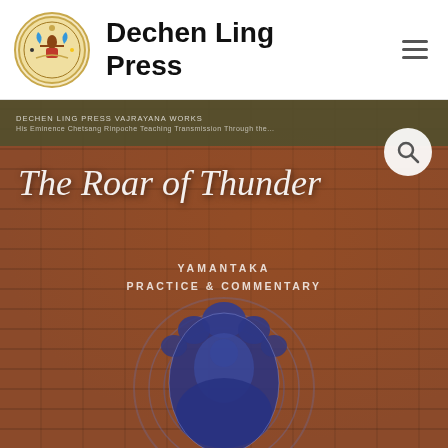Dechen Ling Press
[Figure (photo): Book cover of 'The Roar of Thunder: Yamantaka Practice & Commentary' published by Dechen Ling Press. The cover shows a brick-red textured background with white italic title text and a blue mandala/deity figure at the bottom.]